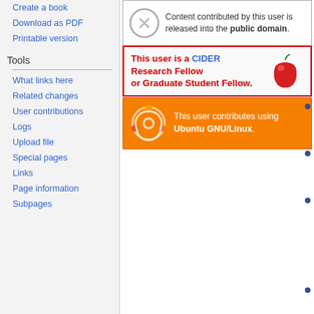Create a book
Download as PDF
Printable version
Tools
What links here
Related changes
User contributions
Logs
Upload file
Special pages
Links
Page information
Subpages
Content contributed by this user is released into the public domain.
This user is a CIDER Research Fellow or Graduate Student Fellow.
This user contributes using Ubuntu GNU/Linux.